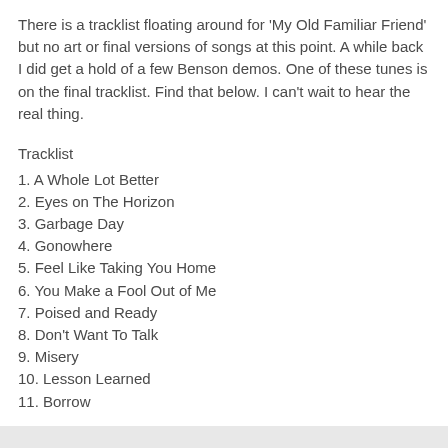There is a tracklist floating around for 'My Old Familiar Friend' but no art or final versions of songs at this point. A while back I did get a hold of a few Benson demos. One of these tunes is on the final tracklist. Find that below. I can't wait to hear the real thing.
Tracklist
1. A Whole Lot Better
2. Eyes on The Horizon
3. Garbage Day
4. Gonowhere
5. Feel Like Taking You Home
6. You Make a Fool Out of Me
7. Poised and Ready
8. Don't Want To Talk
9. Misery
10. Lesson Learned
11. Borrow
Brendan Benson - Lesson Learned (demo) (mp3)